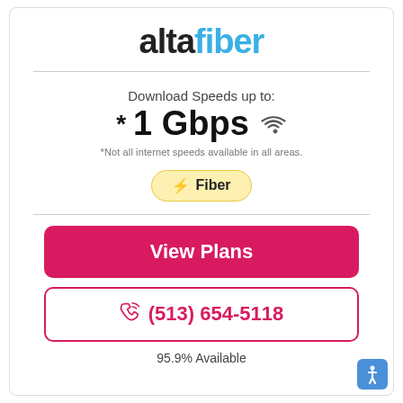[Figure (logo): altafiber logo: 'alta' in dark/black bold, 'fiber' in light blue bold]
Download Speeds up to:
*1 Gbps
*Not all internet speeds available in all areas.
⚡ Fiber
View Plans
📞 (513) 654-5118
95.9% Available